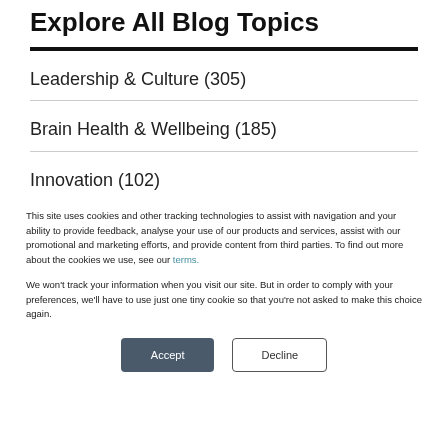Explore All Blog Topics
Leadership & Culture (305)
Brain Health & Wellbeing (185)
Innovation (102)
This site uses cookies and other tracking technologies to assist with navigation and your ability to provide feedback, analyse your use of our products and services, assist with our promotional and marketing efforts, and provide content from third parties. To find out more about the cookies we use, see our terms.
We won't track your information when you visit our site. But in order to comply with your preferences, we'll have to use just one tiny cookie so that you're not asked to make this choice again.